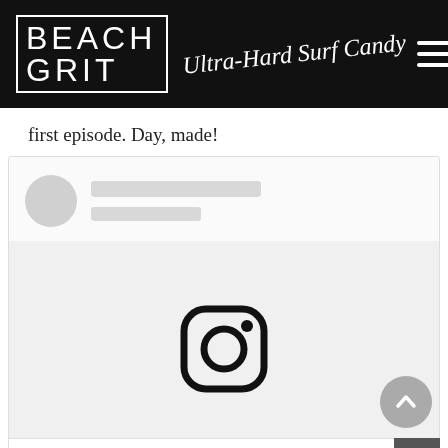BEACH GRIT Ultra-Hard Surf Candy
first episode. Day, made!
[Figure (screenshot): Instagram embed placeholder showing a loading state with circular avatar placeholder, two grey text placeholder bars, a large white/light grey image area with Instagram camera logo icon in black, and a 'View this post on Instagram' link at the bottom. A scroll-to-top arrow button and a close X button are visible overlapping the embed.]